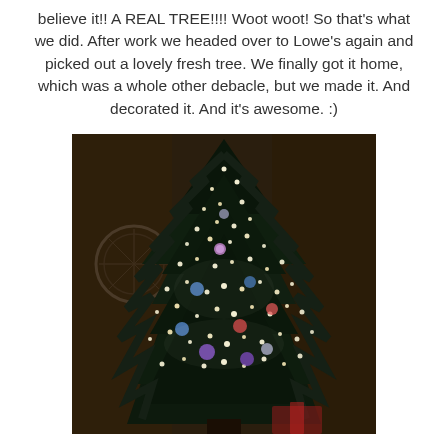believe it!! A REAL TREE!!!! Woot woot! So that's what we did. After work we headed over to Lowe's again and picked out a lovely fresh tree. We finally got it home, which was a whole other debacle, but we made it. And decorated it. And it's awesome. :)
[Figure (photo): A decorated Christmas tree photographed in a dark room. The tree is lit with warm white lights and adorned with various colorful ornaments. A decorative wall clock or ornament is partially visible on the left side. The photo is dim and atmospheric.]